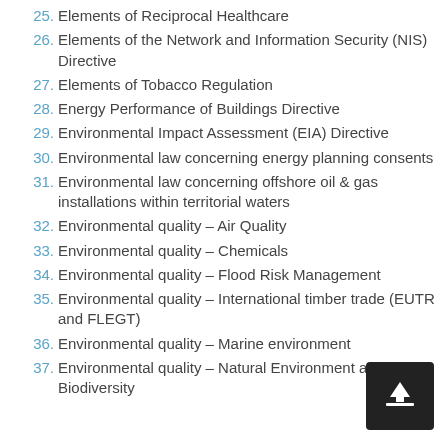25. Elements of Reciprocal Healthcare
26. Elements of the Network and Information Security (NIS) Directive
27. Elements of Tobacco Regulation
28. Energy Performance of Buildings Directive
29. Environmental Impact Assessment (EIA) Directive
30. Environmental law concerning energy planning consents
31. Environmental law concerning offshore oil & gas installations within territorial waters
32. Environmental quality – Air Quality
33. Environmental quality – Chemicals
34. Environmental quality – Flood Risk Management
35. Environmental quality – International timber trade (EUTR and FLEGT)
36. Environmental quality – Marine environment
37. Environmental quality – Natural Environment and Biodiversity